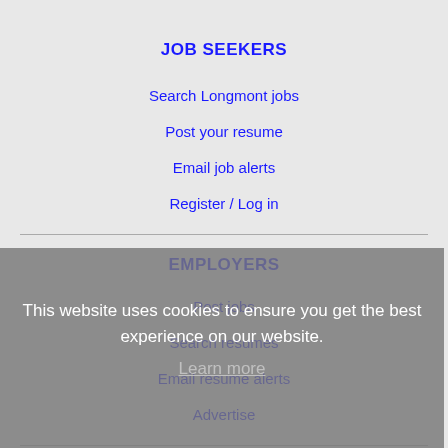JOB SEEKERS
Search Longmont jobs
Post your resume
Email job alerts
Register / Log in
EMPLOYERS
Post jobs
Search resumes
Email resume alerts
Advertise
IMMIGRATION SPECIALISTS
Post jobs
Immigration FAQs
This website uses cookies to ensure you get the best experience on our website. Learn more
Got it!